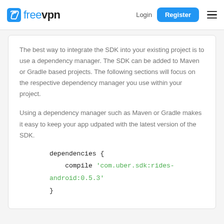freevpn — Login | Register
The best way to integrate the SDK into your existing project is to use a dependency manager. The SDK can be added to Maven or Gradle based projects. The following sections will focus on the respective dependency manager you use within your project.
Using a dependency manager such as Maven or Gradle makes it easy to keep your app udpated with the latest version of the SDK.
dependencies {
    compile 'com.uber.sdk:rides-android:0.5.3'
}